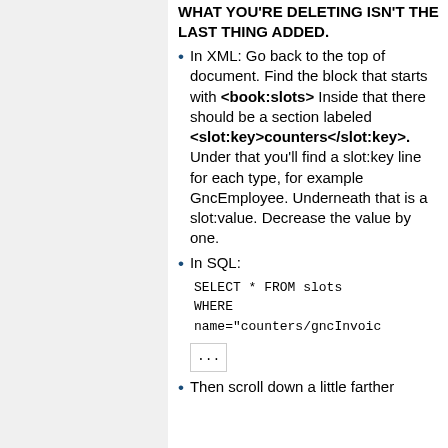WHAT YOU'RE DELETING ISN'T THE LAST THING ADDED.
In XML: Go back to the top of document. Find the block that starts with <book:slots> Inside that there should be a section labeled <slot:key>counters</slot:key>. Under that you'll find a slot:key line for each type, for example GncEmployee. Underneath that is a slot:value. Decrease the value by one.
In SQL: SELECT * FROM slots WHERE name="counters/gncInvoice... ...
Then scroll down a little farther